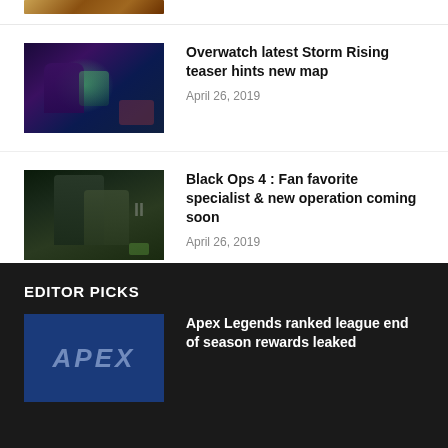[Figure (photo): Partial gaming screenshot at top (cropped)]
[Figure (photo): Overwatch Storm Rising character screenshot]
Overwatch latest Storm Rising teaser hints new map
April 26, 2019
[Figure (photo): Black Ops 4 specialist character screenshot]
Black Ops 4 : Fan favorite specialist & new operation coming soon
April 26, 2019
Load more
EDITOR PICKS
[Figure (photo): Apex Legends blue title card]
Apex Legends ranked league end of season rewards leaked